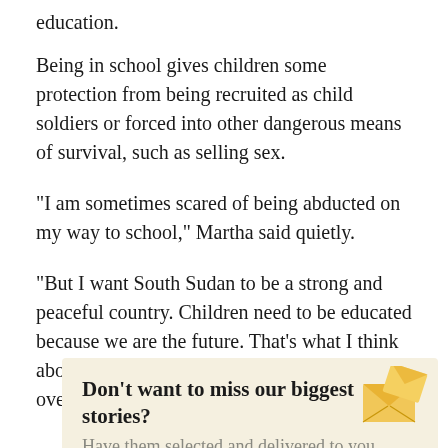education.
Being in school gives children some protection from being recruited as child soldiers or forced into other dangerous means of survival, such as selling sex.
"I am sometimes scared of being abducted on my way to school," Martha said quietly.
"But I want South Sudan to be a strong and peaceful country. Children need to be educated because we are the future. That's what I think about when I walk to school and it helps me overcome my fear."
Don't want to miss our biggest stories? Have them selected and delivered to you